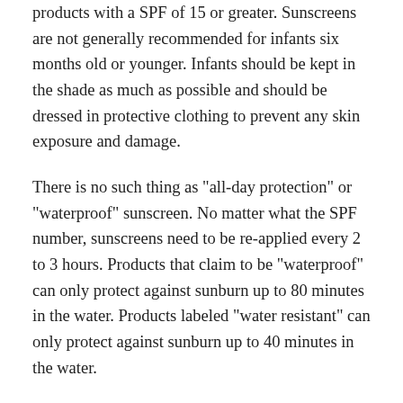products with a SPF of 15 or greater. Sunscreens are not generally recommended for infants six months old or younger. Infants should be kept in the shade as much as possible and should be dressed in protective clothing to prevent any skin exposure and damage.
There is no such thing as "all-day protection" or "waterproof" sunscreen. No matter what the SPF number, sunscreens need to be re-applied every 2 to 3 hours. Products that claim to be "waterproof" can only protect against sunburn up to 80 minutes in the water. Products labeled "water resistant" can only protect against sunburn up to 40 minutes in the water.
Even in the worst weather, 80% of the sun's UV rays can pass through the clouds. Additionally, sand reflects 25% of the sun's UV rays and snow reflects 80% of the